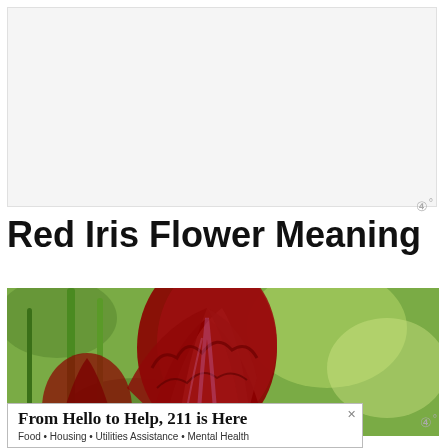[Figure (other): White/light gray blank advertisement placeholder rectangle]
Red Iris Flower Meaning
[Figure (photo): Close-up photograph of a deep red iris flower with ruffled petals against a blurred green background]
From Hello to Help, 211 is Here
Food • Housing • Utilities Assistance • Mental Health